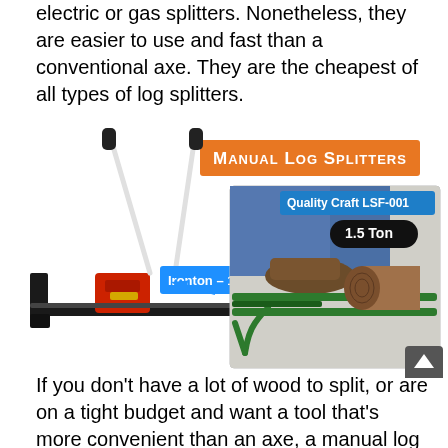electric or gas splitters. Nonetheless, they are easier to use and fast than a conventional axe. They are the cheapest of all types of log splitters.
[Figure (photo): Two manual log splitters shown side by side. Left: Ironton 10 Ton manual log splitter (black frame with red jack). Right: Quality Craft LSF-001 1.5 Ton foot-operated log splitter (green frame) with a person's foot on it and a log in place. An orange banner reads 'MANUAL LOG SPLITTERS'.]
If you don't have a lot of wood to split, or are on a tight budget and want a tool that's more convenient than an axe, a manual log splitter can be an incredible option. Just like the name suggests, the splitter requires the use of